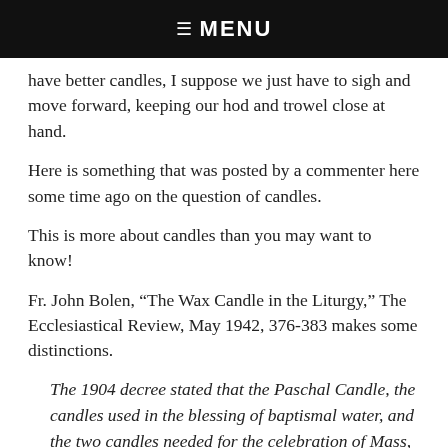☰  MENU
have better candles, I suppose we just have to sigh and move forward, keeping our hod and trowel close at hand.
Here is something that was posted by a commenter here some time ago on the question of candles.
This is more about candles than you may want to know!
Fr. John Bolen, “The Wax Candle in the Liturgy,” The Ecclesiastical Review, May 1942, 376-383 makes some distinctions.
The 1904 decree stated that the Paschal Candle, the candles used in the blessing of baptismal water, and the two candles needed for the celebration of Mass, must be made of wax, at least “in maxima parte”; all other candles used on the altar must contain a “greater or notable part of wax.” Bolan